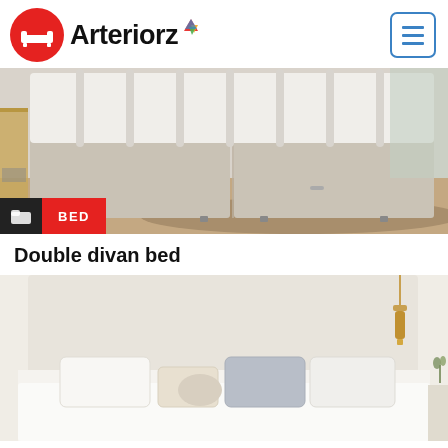Arteriorz
[Figure (photo): Close-up photo of a double divan bed base with a white mattress on top, beige fabric base with chrome feet, on a patterned rug in a bedroom. A BED category tag is overlaid at bottom-left.]
Double divan bed
[Figure (photo): Photo of a minimalist bedroom with a white upholstered headboard, white bedding, grey and cream pillows, and a brass pendant light hanging on the right side.]